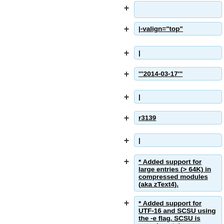+
|-valign="top"
|
'''2014-03-17'''
|
r3139
|
* Added support for large entries (> 64K) in compressed modules (aka zText4).
* Added support for UTF-16 and SCSU using the -e flag. SCSU is experimental.